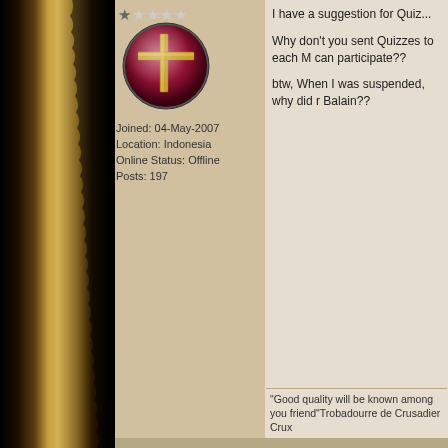[Figure (illustration): Torn dark paper/leather left edge with gold and brown tones]
[Figure (photo): Round avatar image showing a gold cross on dark red background]
Joined: 04-May-2007
Location: Indonesia
Online Status: Offline
Posts: 197
I have a suggestion for Quiz...

Why don't you sent Quizzes to each M can participate??

btw, When I was suspended, why did r Balain??
"Good quality will be known among you friend"Trobadourre de Crusadier Crux
Northman ▾
Tsar
Suspended
Joined: 30-Aug-2004
Online Status: Offline
Posts: 4262
Posted: 15-Jul-2007 at 06:44
Originally posted by Balain

I have a suggestion for Quiz...

Why don't you sent Quizzes to ea Member can participate??